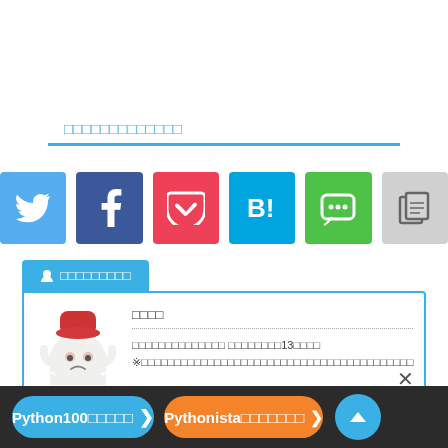□□□□□□□□□□□□□
[Figure (screenshot): Row of 6 social share buttons: Twitter (blue bird), Facebook (dark blue f), Pocket (red), Hatena Bookmark (blue B!), LINE (green chat), Copy (grey document icon)]
👤 □□□□□□□□□
[Figure (photo): Ghost mascot character wearing a red hat, looking unhappy]
□□□□
□□□□□□□□□□□□□□ □□□□□□□□13□□□□ ※□□□□□□□□□□□□□□□□□□□□□□□□□□□
Python100□□□□□ ❯
Pythonista□□□□□□□